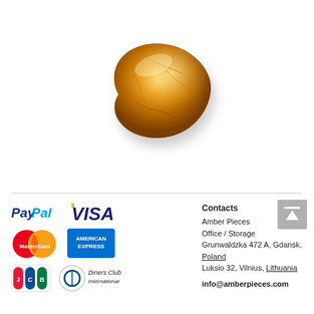[Figure (photo): A polished golden-amber colored piece of natural amber gemstone on a white background.]
[Figure (logo): Payment method logos: PayPal, VISA, MasterCard, American Express, JCB, Diners Club International]
Contacts
Amber Pieces
Office / Storage
Grunwaldzka 472 A, Gdansk, Poland
Luksio 32, Vilnius, Lithuania
info@amberpieces.com